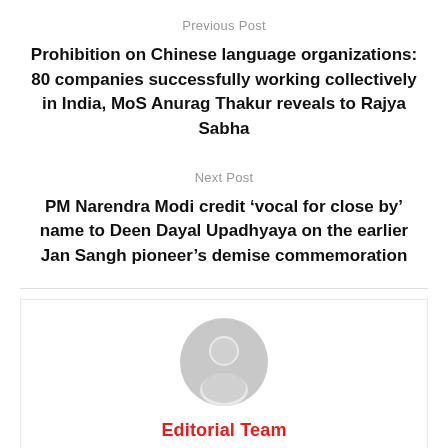Previous Post
Prohibition on Chinese language organizations: 80 companies successfully working collectively in India, MoS Anurag Thakur reveals to Rajya Sabha
Next Post
PM Narendra Modi credit ‘vocal for close by’ name to Deen Dayal Upadhyaya on the earlier Jan Sangh pioneer’s demise commemoration
[Figure (illustration): Generic user avatar icon — grey circular silhouette with head and shoulders shape]
Editorial Team